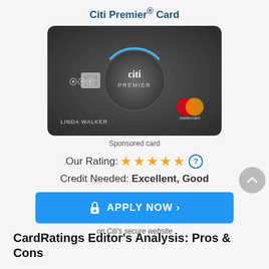Citi Premier® Card
[Figure (photo): Citi Premier credit card image showing a dark grey card with concentric circle design, Citi Premier branding, LINDA WALKER cardholder name, chip, contactless symbol, and Mastercard logo]
Sponsored card
Our Rating: ★★★★★
Credit Needed: Excellent, Good
APPLY NOW > on Citi's secure website
CardRatings Editor's Analysis: Pros & Cons